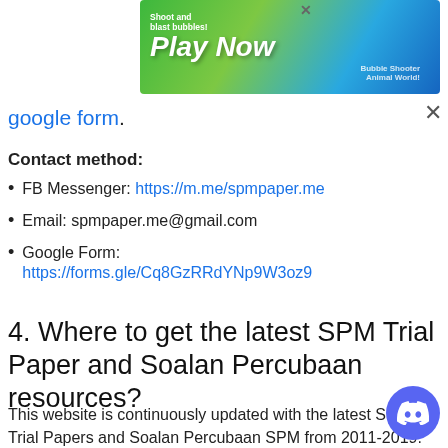[Figure (screenshot): Advertisement banner for a bubble shooter mobile game titled 'Play Now'. Green and blue gradient background with cartoon animals and bubbles. Shows text 'Shoot and blast bubbles! Play Now Bubble Shooter Animal World!']
google form.
Contact method:
FB Messenger: https://m.me/spmpaper.me
Email: spmpaper.me@gmail.com
Google Form: https://forms.gle/Cq8GzRRdYNp9W3oz9
4. Where to get the latest SPM Trial Paper and Soalan Percubaan resources?
This website is continuously updated with the latest SPM Trial Papers and Soalan Percubaan SPM from 2011-2019. Also we share the latest SPM tips regularly on Facebook. Please like Facebook Page to stay updated.